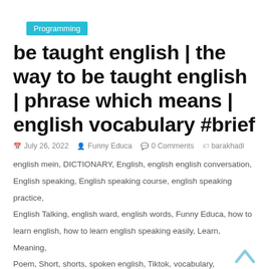Programming
be taught english | the way to be taught english | phrase which means | english vocabulary #brief
July 26, 2022  Funny Educa  0 Comments  barakhadi english mein, DICTIONARY, English, english english conversation, English speaking, English speaking course, english speaking practice, English Talking, english ward, english words, Funny Educa, how to learn english, how to learn english speaking easily, Learn, Meaning, Poem, Short, shorts, spoken english, Tiktok, vocabulary, vocabulary kaise yaad kare, word, word meaning, Word meaning kaise padhe, Word meaning kaise sikhe, Word meaning kaise yaad Karen, Word meaning practice